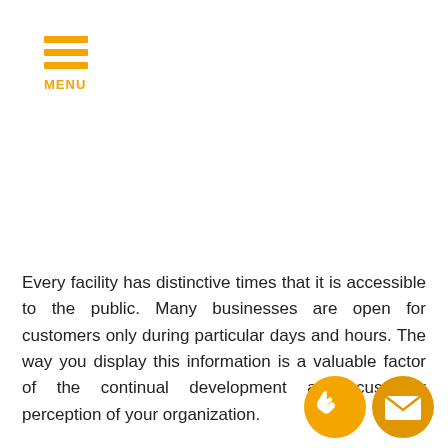MENU
Every facility has distinctive times that it is accessible to the public. Many businesses are open for customers only during particular days and hours. The way you display this information is a valuable factor of the continual development and customer perception of your organization.
Branded vinyl window lettering tells shoppers to your
[Figure (illustration): Two circular orange contact icons: a phone handset icon and an envelope/email icon, positioned at the bottom right of the page.]